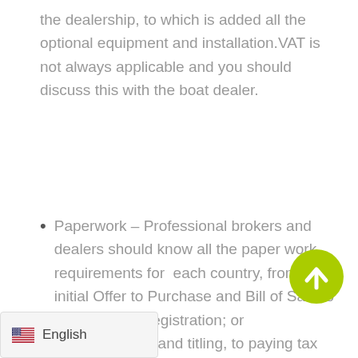the dealership, to which is added all the optional equipment and installation.VAT is not always applicable and you should discuss this with the boat dealer.
Paperwork – Professional brokers and dealers should know all the paper work requirements for each country, from the initial Offer to Purchase and Bill of Sale to licensing and registration; or documentation and titling, to paying taxes and other fees, as well as certificates of ownership, security agreements, and other documents needed to complete a ...Professionals understand maritime